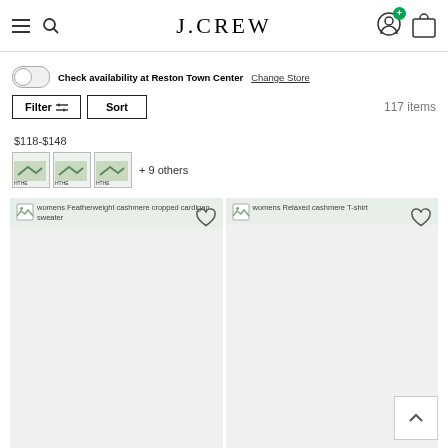J.CREW
Check availability at Reston Town Center  Change Store
Filter  Sort  117 items
$118-$148
+ 9 others
[Figure (screenshot): womens Featherweight cashmere cropped cardigan sweater product image placeholder]
[Figure (screenshot): womens Relaxed cashmere T-shirt product image placeholder]